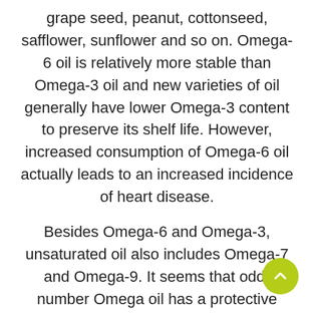grape seed, peanut, cottonseed, safflower, sunflower and so on. Omega-6 oil is relatively more stable than Omega-3 oil and new varieties of oil generally have lower Omega-3 content to preserve its shelf life. However, increased consumption of Omega-6 oil actually leads to an increased incidence of heart disease.
Besides Omega-6 and Omega-3, unsaturated oil also includes Omega-7 and Omega-9. It seems that odd-number Omega oil has a protective effect on the heart. The main source of Omega-7 is